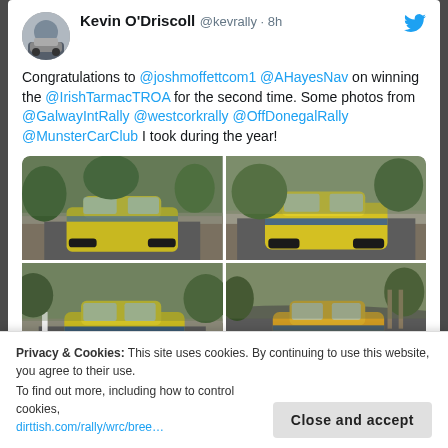[Figure (screenshot): Twitter/social media post by Kevin O'Driscoll (@kevrally) 8 hours ago. Text: 'Congratulations to @joshmoffettcom1 @AHayesNav on winning the @IrishTarmacTROA for the second time. Some photos from @GalwayIntRally @westcorkrally @OffDonegalRally @MunsterCarClub I took during the year!' with a 2x2 grid of rally car photos showing a yellow/blue rally car on roads.]
Privacy & Cookies: This site uses cookies. By continuing to use this website, you agree to their use. To find out more, including how to control cookies, dirtish.com/rally/wrc/bree...